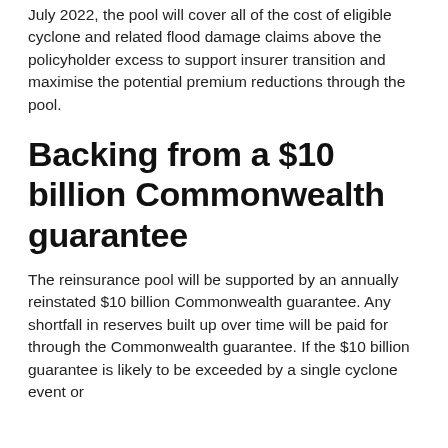July 2022, the pool will cover all of the cost of eligible cyclone and related flood damage claims above the policyholder excess to support insurer transition and maximise the potential premium reductions through the pool.
Backing from a $10 billion Commonwealth guarantee
The reinsurance pool will be supported by an annually reinstated $10 billion Commonwealth guarantee. Any shortfall in reserves built up over time will be paid for through the Commonwealth guarantee. If the $10 billion guarantee is likely to be exceeded by a single cyclone event or